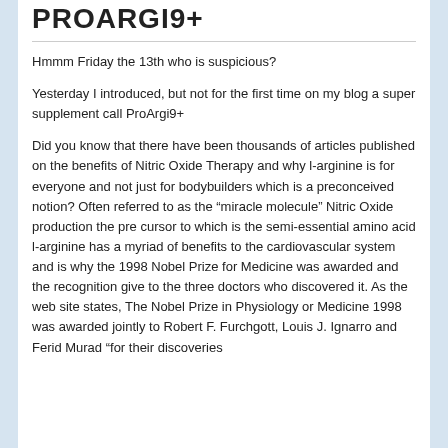PROARGI9+
Hmmm Friday the 13th who is suspicious?
Yesterday I introduced, but not for the first time on my blog a super supplement call ProArgi9+
Did you know that there have been thousands of articles published on the benefits of Nitric Oxide Therapy and why l-arginine is for everyone and not just for bodybuilders which is a preconceived notion? Often referred to as the “miracle molecule” Nitric Oxide production the pre cursor to which is the semi-essential amino acid l-arginine has a myriad of benefits to the cardiovascular system and is why the 1998 Nobel Prize for Medicine was awarded and the recognition give to the three doctors who discovered it. As the web site states, The Nobel Prize in Physiology or Medicine 1998 was awarded jointly to Robert F. Furchgott, Louis J. Ignarro and Ferid Murad “for their discoveries